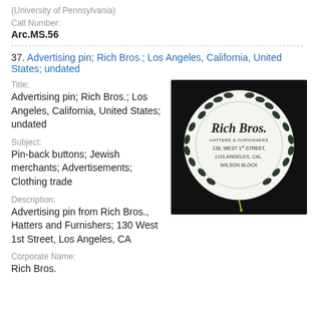(University of Pennsylvania)
Call Number:
Arc.MS.56
37. Advertising pin; Rich Bros.; Los Angeles, California, United States; undated
Title:
Advertising pin; Rich Bros.; Los Angeles, California, United States; undated
Subject:
Pin-back buttons; Jewish merchants; Advertisements; Clothing trade
[Figure (photo): Circular advertising pin for Rich Bros., Hatters and Furnishers. White button with decorative laurel wreath border. Text reads: Rich Bros., Hatters & Furnishers, 130 West 1st Street, Los Angeles, Cal., Wilson Block. Small gold pin visible at bottom.]
Description:
Advertising pin from Rich Bros., Hatters and Furnishers; 130 West 1st Street, Los Angeles, CA
Corporate Name:
Rich Bros.